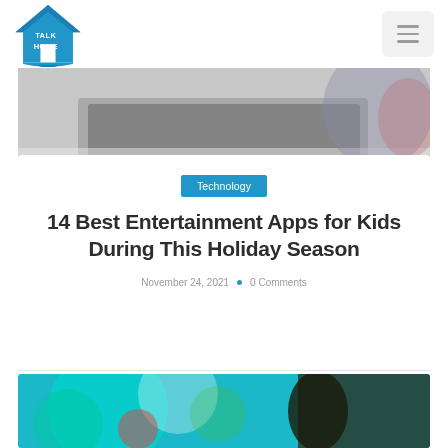Talk Home — navigation bar with logo and hamburger menu
[Figure (photo): Blurred photo of a person using a laptop, partial top portion visible]
Technology
14 Best Entertainment Apps for Kids During This Holiday Season
November 24, 2021  •  0 Comments
[Figure (photo): Blurred close-up photo of colorful lights and a hand holding a device]